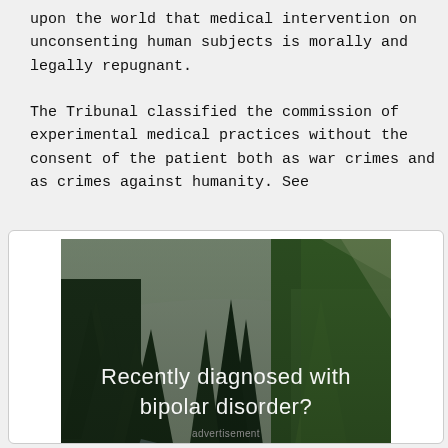upon the world that medical intervention on unconsenting human subjects is morally and legally repugnant.

The Tribunal classified the commission of experimental medical practices without the consent of the patient both as war crimes and as crimes against humanity. See
[Figure (photo): Forest and river landscape photo with text overlay: 'Recently diagnosed with bipolar disorder? DOWNLOAD OUR FREE EBOOK NOW.' — an advertisement banner.]
advertisement